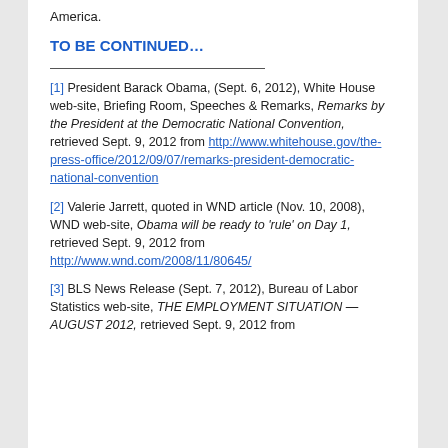America.
TO BE CONTINUED…
[1] President Barack Obama, (Sept. 6, 2012), White House web-site, Briefing Room, Speeches & Remarks, Remarks by the President at the Democratic National Convention, retrieved Sept. 9, 2012 from http://www.whitehouse.gov/the-press-office/2012/09/07/remarks-president-democratic-national-convention
[2] Valerie Jarrett, quoted in WND article (Nov. 10, 2008), WND web-site, Obama will be ready to 'rule' on Day 1, retrieved Sept. 9, 2012 from http://www.wnd.com/2008/11/80645/
[3] BLS News Release (Sept. 7, 2012), Bureau of Labor Statistics web-site, THE EMPLOYMENT SITUATION — AUGUST 2012, retrieved Sept. 9, 2012 from